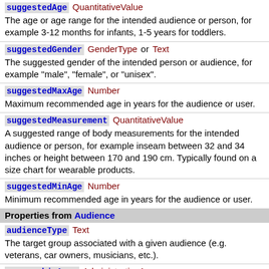suggestedAge QuantitativeValue — The age or age range for the intended audience or person, for example 3-12 months for infants, 1-5 years for toddlers.
suggestedGender GenderType or Text — The suggested gender of the intended person or audience, for example "male", "female", or "unisex".
suggestedMaxAge Number — Maximum recommended age in years for the audience or user.
suggestedMeasurement QuantitativeValue — A suggested range of body measurements for the intended audience or person, for example inseam between 32 and 34 inches or height between 170 and 190 cm. Typically found on a size chart for wearable products.
suggestedMinAge Number — Minimum recommended age in years for the audience or user.
Properties from Audience
audienceType Text — The target group associated with a given audience (e.g. veterans, car owners, musicians, etc.).
geographicArea AdministrativeArea — The geographic area associated with the audience.
Properties from Thing
additionalType URL — An additional type for the item, typically used for adding more